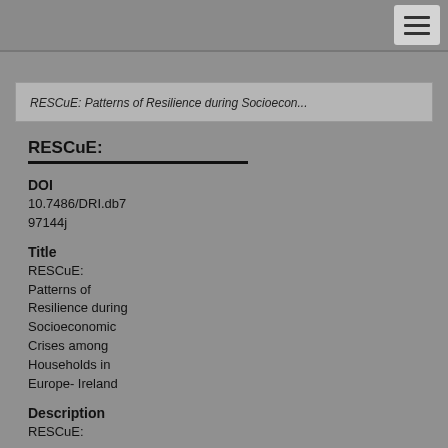RESCuE: Patterns of Resilience during Socioecon...
RESCuE:
DOI
10.7486/DRI.db797144j
Title
RESCuE: Patterns of Resilience during Socioeconomic Crises among Households in Europe- Ireland
Description
RESCuE: